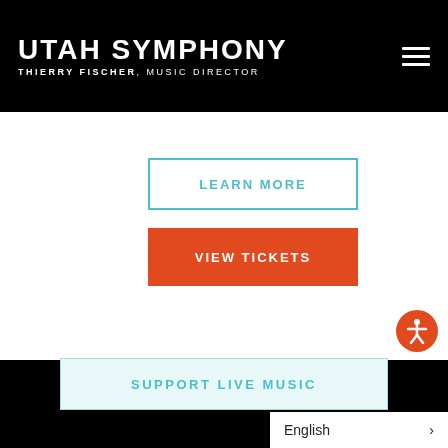UTAH SYMPHONY THIERRY FISCHER, MUSIC DIRECTOR
LEARN MORE
VIEW TICKETS
[Figure (illustration): Accessibility icon - orange circle with white human figure with arms outstretched]
SUPPORT LIVE MUSIC
English
OUR SPONSORS